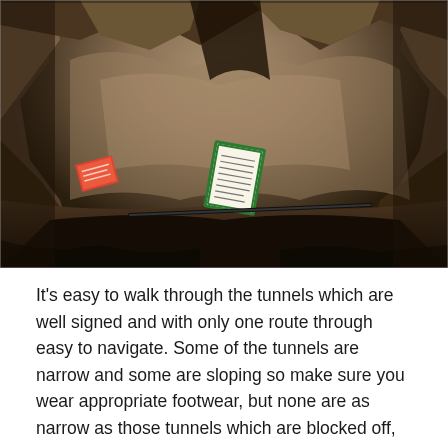[Figure (photo): Interior of a cave or tunnel with rough rocky walls and ceiling in brown and beige tones. Two small signs or placards are visible propped against the rocky walls — one on the left partially visible showing red/orange color, and one in the center with green border and text. A dark rod or tool lies on the ground.]
It's easy to walk through the tunnels which are well signed and with only one route through easy to navigate. Some of the tunnels are narrow and some are sloping so make sure you wear appropriate footwear, but none are as narrow as those tunnels which are blocked off, they most probably would have been dug out by small children. The